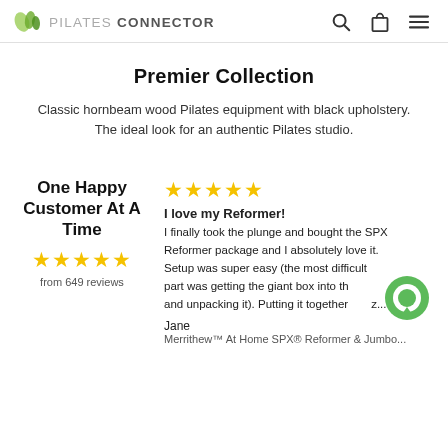PILATES CONNECTOR
Premier Collection
Classic hornbeam wood Pilates equipment with black upholstery. The ideal look for an authentic Pilates studio.
One Happy Customer At A Time
from 649 reviews
I love my Reformer! I finally took the plunge and bought the SPX Reformer package and I absolutely love it. Setup was super easy (the most difficult part was getting the giant box into th... and unpacking it). Putting it together...z...
Jane
Merrithew™ At Home SPX® Reformer & Jumbo...